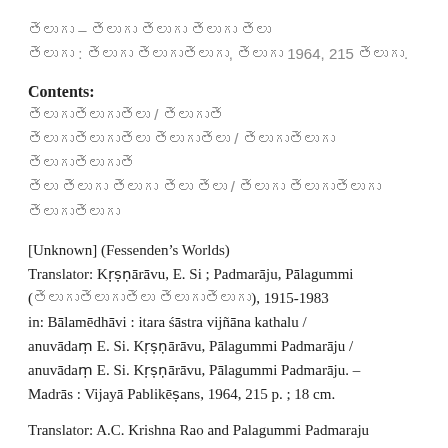[Telugu text line 1] – [Telugu text line 2]
[Telugu text] : [Telugu text], [Telugu] 1964, 215 [Telugu].
Contents:
[Telugu] / [Telugu]
[Telugu] [Telugu] / [Telugu] [Telugu]
[Telugu] [Telugu] [Telugu] [Telugu] [Telugu] / [Telugu] [Telugu] [Telugu]
[Unknown] (Fessenden's Worlds)
Translator: Kṛṣṇārāvu, E. Si ; Padmarāju, Pālagummi
([Telugu] [Telugu]), 1915-1983
in: Bālamēdhāvi : itara śāstra vijñāna kathalu / anuvādaṃ E. Si. Kṛṣṇārāvu, Pālagummi Padmarāju / anuvādaṃ E. Si. Kṛṣṇārāvu, Pālagummi Padmarāju. – Madrās : Vijayā Pablikēṣans, 1964, 215 p. ; 18 cm.
Translator: A.C. Krishna Rao and Palagummi Padmaraju
in: Bala Methavi. Itara Sastra Vignana Kathalu : Science fiction stories / translated into Telugu by A.C. Krishna